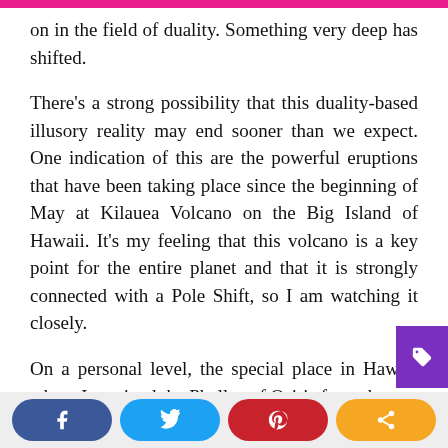on in the field of duality. Something very deep has shifted.
There's a strong possibility that this duality-based illusory reality may end sooner than we expect. One indication of this are the powerful eruptions that have been taking place since the beginning of May at Kilauea Volcano on the Big Island of Hawaii. It's my feeling that this volcano is a key point for the entire planet and that it is strongly connected with a Pole Shift, so I am watching it closely.
On a personal level, the special place in Haw… where I received the Phallus of Osiris from the
[Figure (other): Purple tag/label badge icon in bottom-right corner]
Social share buttons: Facebook, Twitter, Pinterest, Share